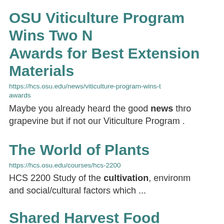OSU Viticulture Program Wins Two N Awards for Best Extension Materials
https://hcs.osu.edu/news/viticulture-program-wins-t awards
Maybe you already heard the good news thro grapevine but if not our Viticulture Program ...
The World of Plants
https://hcs.osu.edu/courses/hcs-2200
HCS 2200 Study of the cultivation, environm and social/cultural factors which ...
Shared Harvest Food Distribution
https://darke.osu.edu/events/shared-harvest-food-di